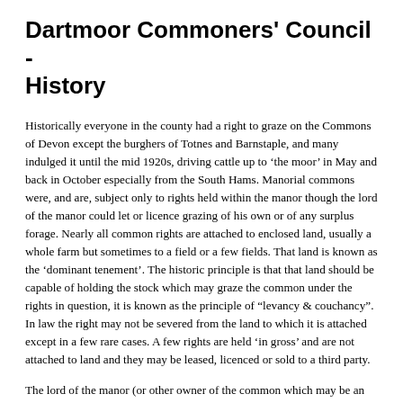Dartmoor Commoners' Council - History
Historically everyone in the county had a right to graze on the Commons of Devon except the burghers of Totnes and Barnstaple, and many indulged it until the mid 1920s, driving cattle up to ‘the moor’ in May and back in October especially from the South Hams. Manorial commons were, and are, subject only to rights held within the manor though the lord of the manor could let or licence grazing of his own or of any surplus forage. Nearly all common rights are attached to enclosed land, usually a whole farm but sometimes to a field or a few fields. That land is known as the ‘dominant tenement’. The historic principle is that that land should be capable of holding the stock which may graze the common under the rights in question, it is known as the principle of “levancy & couchancy”. In law the right may not be severed from the land to which it is attached except in a few rare cases. A few rights are held ‘in gross’ and are not attached to land and they may be leased, licenced or sold to a third party.
The lord of the manor (or other owner of the common which may be an institution rather than an individual) has the sporting rights